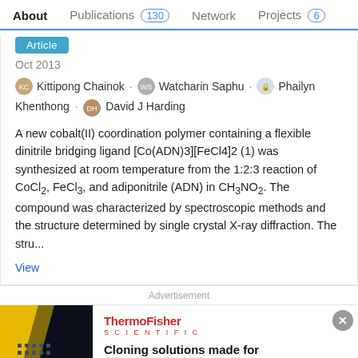About  Publications 130  Network  Projects 6
Article
Oct 2013
Kittipong Chainok · Watcharin Saphu · Phailyn Khenthong · David J Harding
A new cobalt(II) coordination polymer containing a flexible dinitrile bridging ligand [Co(ADN)3][FeCl4]2 (1) was synthesized at room temperature from the 1:2:3 reaction of CoCl2, FeCl3, and adiponitrile (ADN) in CH3NO2. The compound was characterized by spectroscopic methods and the structure determined by single crystal X-ray diffraction. The stru...
View
Advertisement
[Figure (illustration): ThermoFisher Scientific advertisement with dark background showing yellow diagonal stripe, grid of dots, and 'Cloning' label. Ad copy: 'Cloning solutions made for advancement']